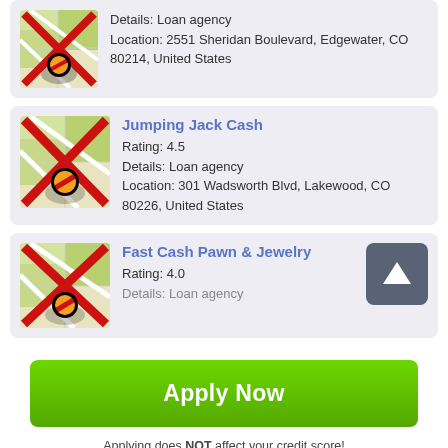[Figure (screenshot): Loan agency listing card (partial, top) with map icon crossed out, showing details: Loan agency, Location: 2551 Sheridan Boulevard, Edgewater, CO 80214, United States]
[Figure (screenshot): Jumping Jack Cash listing card with crossed-out map icon, Rating: 4.5, Details: Loan agency, Location: 301 Wadsworth Blvd, Lakewood, CO 80226, United States]
[Figure (screenshot): Fast Cash Pawn & Jewelry listing card (partial) with crossed-out map icon and up-arrow button, Rating: 4.0, Details: Loan agency]
Apply Now
Applying does NOT affect your credit score! No credit check to apply.